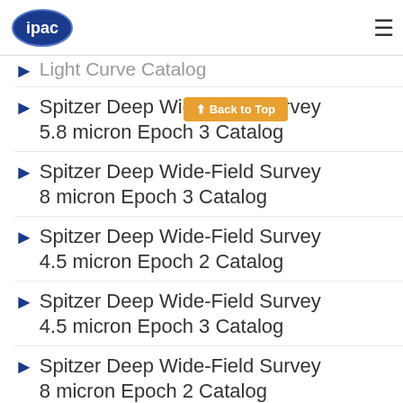ipac [logo] [hamburger menu]
Light Curve Catalog
Spitzer Deep Wide-Field Survey 5.8 micron Epoch 3 Catalog
Spitzer Deep Wide-Field Survey 8 micron Epoch 3 Catalog
Spitzer Deep Wide-Field Survey 4.5 micron Epoch 2 Catalog
Spitzer Deep Wide-Field Survey 4.5 micron Epoch 3 Catalog
Spitzer Deep Wide-Field Survey 8 micron Epoch 2 Catalog